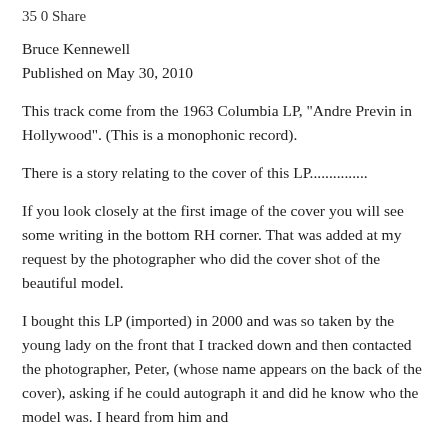35 0 Share
Bruce Kennewell
Published on May 30, 2010
This track come from the 1963 Columbia LP, "Andre Previn in Hollywood". (This is a monophonic record).
There is a story relating to the cover of this LP...............
If you look closely at the first image of the cover you will see some writing in the bottom RH corner. That was added at my request by the photographer who did the cover shot of the beautiful model.
I bought this LP (imported) in 2000 and was so taken by the young lady on the front that I tracked down and then contacted the photographer, Peter, (whose name appears on the back of the cover), asking if he could autograph it and did he know who the model was. I heard from him and